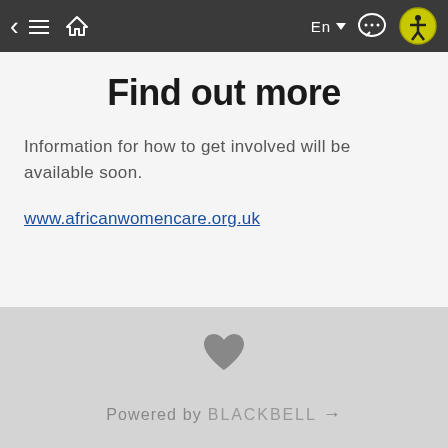< ≡ 🏠  En ▼  💬  ♿
Find out more
Information for how to get involved will be available soon.
www.africanwomencare.org.uk
♥ Powered by BLACKBELL →